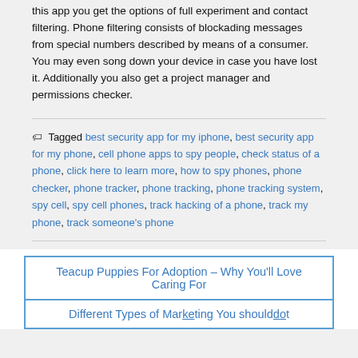this app you get the options of full experiment and contact filtering. Phone filtering consists of blockading messages from special numbers described by means of a consumer. You may even song down your device in case you have lost it. Additionally you also get a project manager and permissions checker.
Tagged best security app for my iphone, best security app for my phone, cell phone apps to spy people, check status of a phone, click here to learn more, how to spy phones, phone checker, phone tracker, phone tracking, phone tracking system, spy cell, spy cell phones, track hacking of a phone, track my phone, track someone's phone
Teacup Puppies For Adoption – Why You'll Love Caring For
Different Types of Marketing You should do